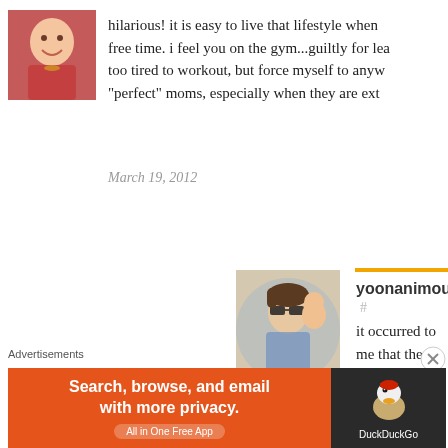[Figure (photo): Avatar of a woman in red top, smiling]
hilarious! it is easy to live that lifestyle when free time. i feel you on the gym...guiltly for lea too tired to workout, but force myself to anyw "perfect" moms, especially when they are ext
March 19, 2012
[Figure (photo): Avatar of a woman with sunglasses holding a child]
yoonanimous #
it occurred to me that the of the workout, so i've bee husband clearly does not e always returns from th
Advertisements
[Figure (screenshot): DuckDuckGo advertisement banner: Search, browse, and email with more privacy. All in One Free App]